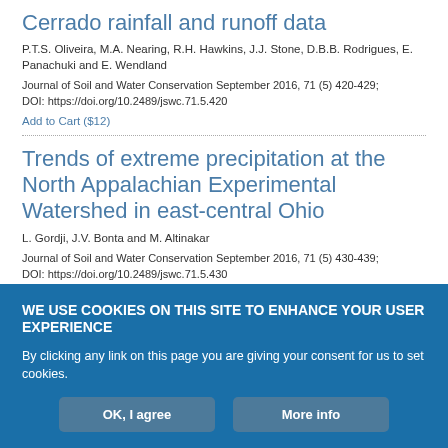Cerrado rainfall and runoff data
P.T.S. Oliveira, M.A. Nearing, R.H. Hawkins, J.J. Stone, D.B.B. Rodrigues, E. Panachuki and E. Wendland
Journal of Soil and Water Conservation September 2016, 71 (5) 420-429; DOI: https://doi.org/10.2489/jswc.71.5.420
Add to Cart ($12)
Trends of extreme precipitation at the North Appalachian Experimental Watershed in east-central Ohio
L. Gordji, J.V. Bonta and M. Altinakar
Journal of Soil and Water Conservation September 2016, 71 (5) 430-439; DOI: https://doi.org/10.2489/jswc.71.5.430
Add to Cart ($12)
WE USE COOKIES ON THIS SITE TO ENHANCE YOUR USER EXPERIENCE
By clicking any link on this page you are giving your consent for us to set cookies.
OK, I agree
More info